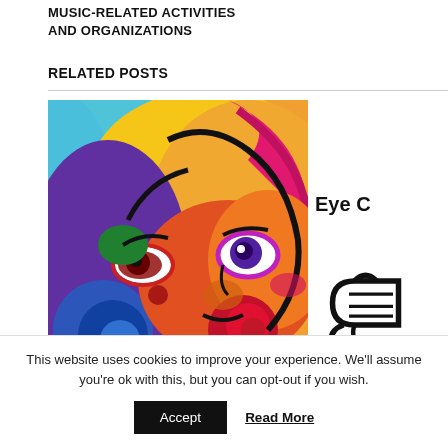MUSIC-RELATED ACTIVITIES AND ORGANIZATIONS
RELATED POSTS
[Figure (illustration): Colorful psychedelic painting of a face with vibrant colors — blue, yellow, orange, red, magenta, purple, and green — close-up showing eyes, nose, and swirling decorative elements]
Eye C
[Figure (illustration): Partial view of a scroll/music icon in black and white]
This website uses cookies to improve your experience. We'll assume you're ok with this, but you can opt-out if you wish.
Accept
Read More